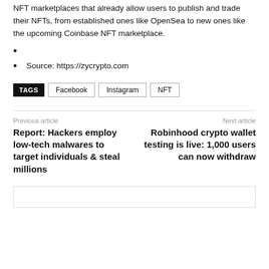NFT marketplaces that already allow users to publish and trade their NFTs, from established ones like OpenSea to new ones like the upcoming Coinbase NFT marketplace.
Source: https://zycrypto.com
TAGS  Facebook  Instagram  NFT
Previous article
Report: Hackers employ low-tech malwares to target individuals & steal millions
Next article
Robinhood crypto wallet testing is live: 1,000 users can now withdraw